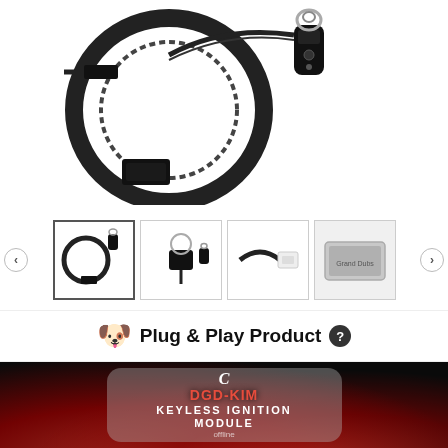[Figure (photo): Product photo of keyless ignition module — black cable ring coil and key fob with keychain on white background]
[Figure (photo): Four product thumbnail images showing keyless ignition module components: full kit, wiring diagram, cable connector, and branded packaging box]
🐶 Plug & Play Product ❓
[Figure (screenshot): Dark video thumbnail with fire background showing text: C / DGD-KIM / KEYLESS IGNITION MODULE / offline]